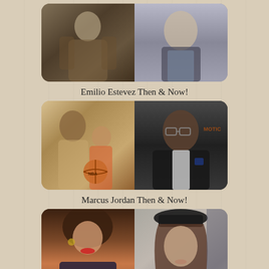[Figure (photo): Emilio Estevez then and now — two side-by-side photos: younger version on left, older on right]
Emilio Estevez Then & Now!
[Figure (photo): Marcus Jordan then and now — left photo shows him as a child with Michael Jordan holding a basketball, right photo shows him as an adult in a suit]
Marcus Jordan Then & Now!
[Figure (photo): A woman then and now — left photo shows her younger with big 80s hair and red lipstick, right photo shows her as an adult wearing a dark hat]